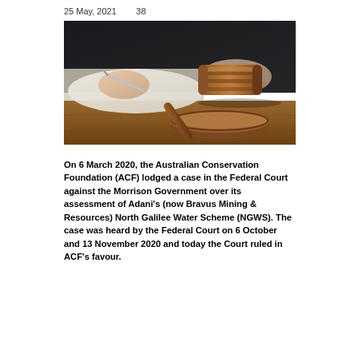25 May, 2021    38
[Figure (photo): A person writing with a pen on paper, with a wooden judge's gavel in the foreground on a wooden surface, suggesting a legal or courtroom setting.]
On 6 March 2020, the Australian Conservation Foundation (ACF) lodged a case in the Federal Court against the Morrison Government over its assessment of Adani's (now Bravus Mining & Resources) North Galilee Water Scheme (NGWS). The case was heard by the Federal Court on 6 October and 13 November 2020 and today the Court ruled in ACF's favour.